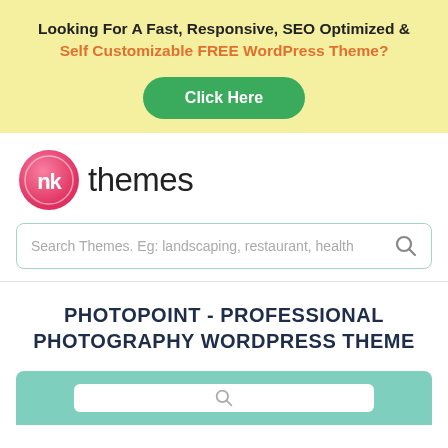Looking For A Fast, Responsive, SEO Optimized & Self Customizable FREE WordPress Theme?
[Figure (other): Green 'Click Here' button]
[Figure (logo): nk themes logo with pink circle icon and black text]
[Figure (other): Search bar with placeholder text 'Search Themes. Eg: landscaping, restaurant, health' and search icon]
PHOTOPOINT - PROFESSIONAL PHOTOGRAPHY WORDPRESS THEME
[Figure (screenshot): Teal/mint colored preview strip with white search bar inside]